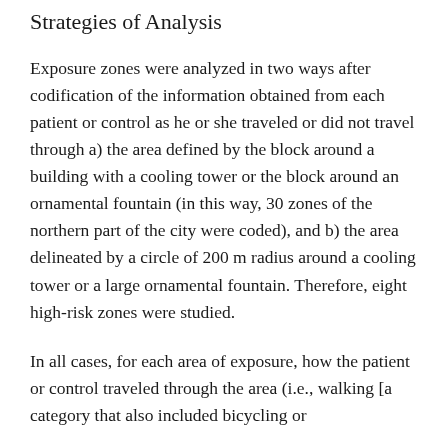Strategies of Analysis
Exposure zones were analyzed in two ways after codification of the information obtained from each patient or control as he or she traveled or did not travel through a) the area defined by the block around a building with a cooling tower or the block around an ornamental fountain (in this way, 30 zones of the northern part of the city were coded), and b) the area delineated by a circle of 200 m radius around a cooling tower or a large ornamental fountain. Therefore, eight high-risk zones were studied.
In all cases, for each area of exposure, how the patient or control traveled through the area (i.e., walking [a category that also included bicycling or